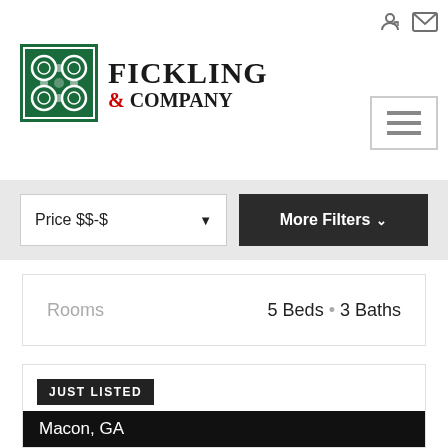[Figure (logo): Fickling & Company real estate logo with green square containing floral pattern and company name]
Price $$-$
More Filters
Rooms   5 Beds • 3 Baths
JUST LISTED
Macon, GA